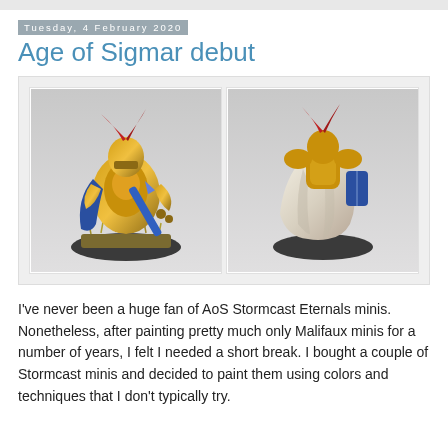Tuesday, 4 February 2020
Age of Sigmar debut
[Figure (photo): Two photos side by side of a painted Warhammer Age of Sigmar Stormcast Eternals miniature — front view (left) showing golden armour, blue cloak and sword, red plume, grass base; back view (right) showing white/cream flowing cloak and blue shield.]
I've never been a huge fan of AoS Stormcast Eternals minis. Nonetheless, after painting pretty much only Malifaux minis for a number of years, I felt I needed a short break. I bought a couple of Stormcast minis and decided to paint them using colors and techniques that I don't typically try.